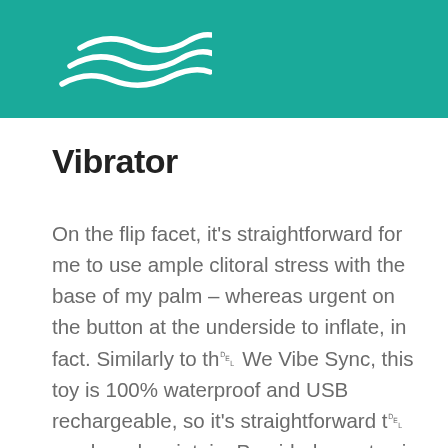[Figure (logo): White wave/stream logo on teal background header bar]
Vibrator
On the flip facet, it's straightforward for me to use ample clitoral stress with the base of my palm – whereas urgent on the button at the underside to inflate, in fact. Similarly to th␡ We Vibe Sync, this toy is 100% waterproof and USB rechargeable, so it's straightforward t␡ scrub and maintain. Provided your toy is nonporous, you may clean it between uses with water and a mild soap. The latter may be inflated in 4 automated modes: gentle inflation, medium inflation, maximum inflation and pulsing inflation. Maximum run time sixty five minutes. The